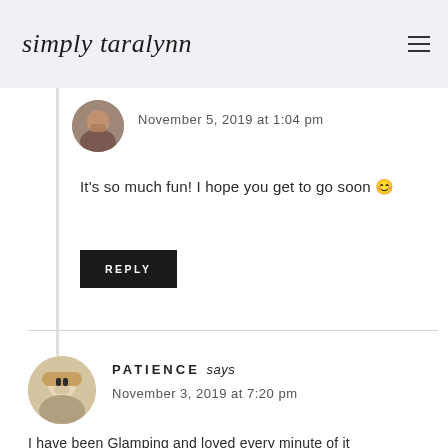simply taralynn
November 5, 2019 at 1:04 pm
It’s so much fun! I hope you get to go soon 😊
REPLY
PATIENCE says
November 3, 2019 at 7:20 pm
I have been Glamping and loved every minute of it